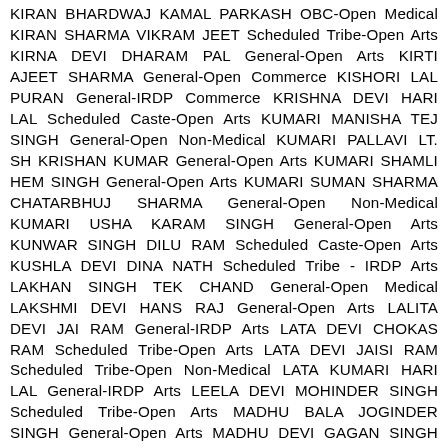KIRAN BHARDWAJ KAMAL PARKASH OBC-Open Medical KIRAN SHARMA VIKRAM JEET Scheduled Tribe-Open Arts KIRNA DEVI DHARAM PAL General-Open Arts KIRTI AJEET SHARMA General-Open Commerce KISHORI LAL PURAN General-IRDP Commerce KRISHNA DEVI HARI LAL Scheduled Caste-Open Arts KUMARI MANISHA TEJ SINGH General-Open Non-Medical KUMARI PALLAVI LT. SH KRISHAN KUMAR General-Open Arts KUMARI SHAMLI HEM SINGH General-Open Arts KUMARI SUMAN SHARMA CHATARBHUJ SHARMA General-Open Non-Medical KUMARI USHA KARAM SINGH General-Open Arts KUNWAR SINGH DILU RAM Scheduled Caste-Open Arts KUSHLA DEVI DINA NATH Scheduled Tribe - IRDP Arts LAKHAN SINGH TEK CHAND General-Open Medical LAKSHMI DEVI HANS RAJ General-Open Arts LALITA DEVI JAI RAM General-IRDP Arts LATA DEVI CHOKAS RAM Scheduled Tribe-Open Arts LATA DEVI JAISI RAM Scheduled Tribe-Open Non-Medical LATA KUMARI HARI LAL General-IRDP Arts LEELA DEVI MOHINDER SINGH Scheduled Tribe-Open Arts MADHU BALA JOGINDER SINGH General-Open Arts MADHU DEVI GAGAN SINGH Scheduled Tribe-Open Non-Medical MAMATA OM PRAKASH Scheduled Tribe-Open Arts 86 Page 20 of 196